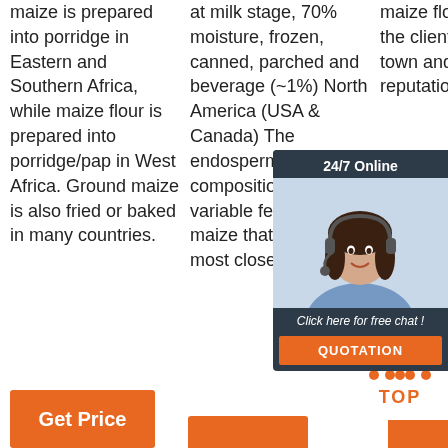maize is prepared into porridge in Eastern and Southern Africa, while maize flour is prepared into porridge/pap in West Africa. Ground maize is also fried or baked in many countries.
at milk stage, 70% moisture, frozen, canned, parched and beverage (~1%) North America (USA & Canada) The endosperm composition is the variable feature of maize that relates most closely with its
maize flour to the client's town and the reputation of th... go... m... A... Ta...
[Figure (infographic): 24/7 Online chat widget with a woman wearing a headset, a 'Click here for free chat!' message, and a QUOTATION button in orange]
[Figure (infographic): TOP button with orange dots forming an upward arrow triangle above the word TOP in orange]
[Figure (infographic): Get Price orange button at bottom left]
[Figure (infographic): Orange partial button at bottom center]